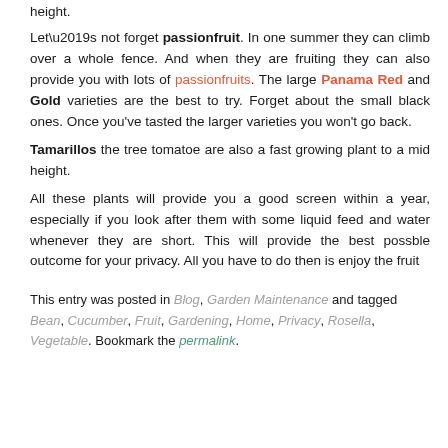height.
Let’s not forget passionfruit. In one summer they can climb over a whole fence. And when they are fruiting they can also provide you with lots of passionfruits. The large Panama Red and Gold varieties are the best to try. Forget about the small black ones. Once you’ve tasted the larger varieties you won’t go back.
Tamarillos the tree tomatoe are also a fast growing plant to a mid height.
All these plants will provide you a good screen within a year, especially if you look after them with some liquid feed and water whenever they are short. This will provide the best possble outcome for your privacy. All you have to do then is enjoy the fruit
This entry was posted in Blog, Garden Maintenance and tagged Bean, Cucumber, Fruit, Gardening, Home, Privacy, Rosella, Vegetable. Bookmark the permalink.